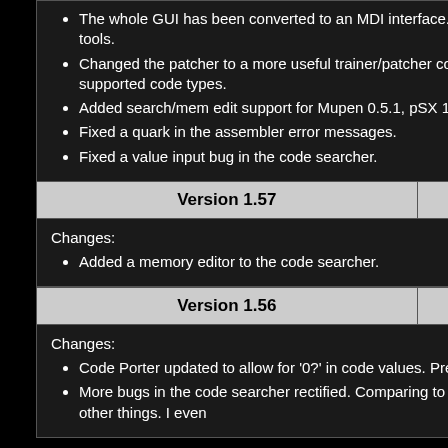The whole GUI has been converted to an MDI interface. You'll notice some minor GUI changes in some tools.
Changed the patcher to a more useful trainer/patcher combo. See info below for a complete list of supported code types.
Added search/mem edit support for Mupen 0.5.1, pSX 1.9, SSSPSX, and No$GBA.
Fixed a quark in the assembler error messages.
Fixed a value input bug in the code searcher.
| Version 1.57 | 9/19/06 |
| --- | --- |
Changes:
Added a memory editor to the code searcher.
| Version 1.56 | 9/16/06 |
| --- | --- |
Changes:
Code Porter updated to allow for '0?' in code values. Previously only hex values or ??/XX worked.
More bugs in the code searcher rectified. Comparing to previous searches actually works now, among other things. I even...